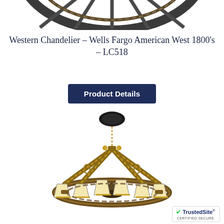[Figure (photo): Top portion of a wagon wheel chandelier, dark metal rim with spokes, cropped at top of page]
Western Chandelier – Wells Fargo American West 1800's – LC518
Product Details
[Figure (photo): Western chandelier with wagon wheel base, rope-wrapped arms, and six cream lampshades, hanging from black ceiling medallion via metal chain]
[Figure (logo): TrustedSite CERTIFIED SECURE badge with green checkmark]